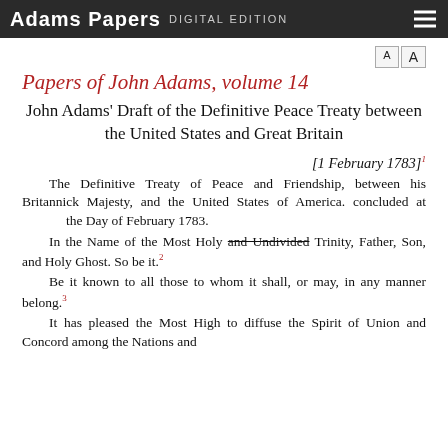Adams Papers DIGITAL EDITION
Papers of John Adams, volume 14
John Adams' Draft of the Definitive Peace Treaty between the United States and Great Britain
[1 February 1783]¹
The Definitive Treaty of Peace and Friendship, between his Britannick Majesty, and the United States of America. concluded at the Day of February 1783.
In the Name of the Most Holy and Undivided Trinity, Father, Son, and Holy Ghost. So be it.²
Be it known to all those to whom it shall, or may, in any manner belong.³
It has pleased the Most High to diffuse the Spirit of Union and Concord among the Nations and...